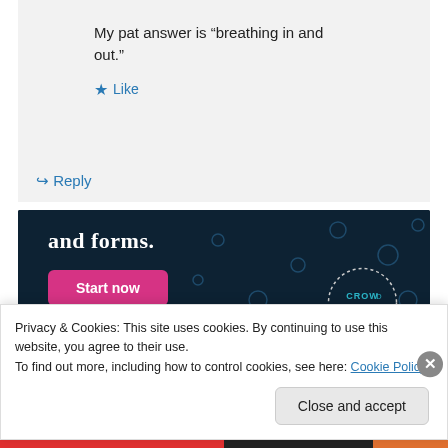My pat answer is “breathing in and out.”
★ Like
↪ Reply
[Figure (screenshot): Dark navy ad banner with bold white text 'and forms.' and a pink 'Start now' button. A circular dotted logo with 'CROWD' text appears in the bottom right corner.]
Privacy & Cookies: This site uses cookies. By continuing to use this website, you agree to their use.
To find out more, including how to control cookies, see here: Cookie Policy
Close and accept